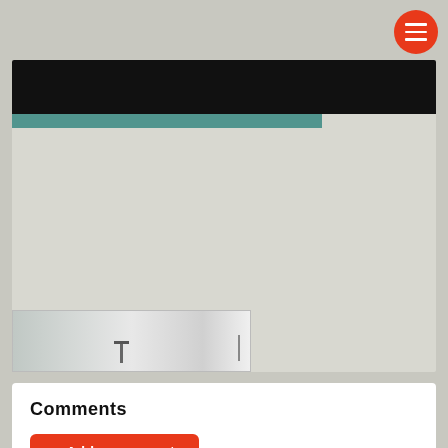[Figure (screenshot): Mobile app interface showing a menu button (hamburger icon in orange circle) in the top right corner, a main content card with a black banner image at the top and a teal/green strip below it, and a small bathroom/sink photo thumbnail at the bottom left of the card.]
Comments
+ Add a comment